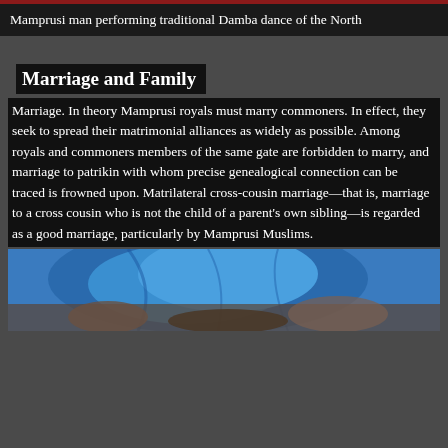Mamprusi man performing traditional Damba dance of the North
Marriage and Family
Marriage. In theory Mamprusi royals must marry commoners. In effect, they seek to spread their matrimonial alliances as widely as possible. Among royals and commoners members of the same gate are forbidden to marry, and marriage to patrikin with whom precise genealogical connection can be traced is frowned upon. Matrilateral cross-cousin marriage—that is, marriage to a cross cousin who is not the child of a parent's own sibling—is regarded as a good marriage, particularly by Mamprusi Muslims.
[Figure (photo): Photograph of a person wearing a bright blue garment, likely at a cultural gathering]